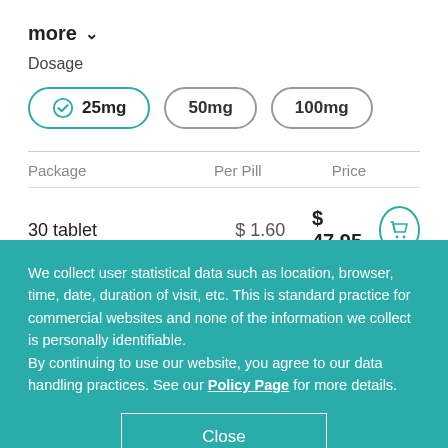more ∨
Dosage
25mg (selected), 50mg, 100mg
| Package | Per Pill | Price |
| --- | --- | --- |
| 30 tablet | $ 1.60 | $ 47.95 |
| 60 tablet | $ 1.02 | $ 61.95 |
We collect user statistical data such as location, browser, time, date, duration of visit, etc. This is standard practice for commercial websites and none of the information we collect is personally identifiable.
By continuing to use our website, you agree to our data handling practices. See our Policy Page for more details.
Close